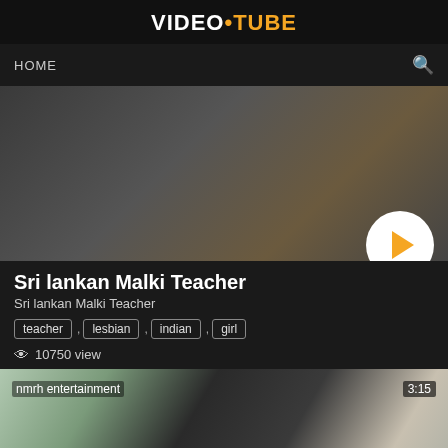VIDEO•TUBE
HOME
[Figure (screenshot): Video thumbnail showing a dark room scene]
Sri lankan Malki Teacher
Sri lankan Malki Teacher
teacher , lesbian , indian , girl
10750 view
[Figure (screenshot): Video thumbnail labeled 'nmrh entertainment', duration 3:15, showing two people]